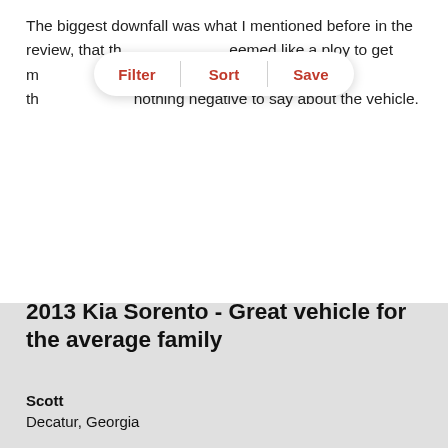The biggest downfall was what I mentioned before in the review, that the ... seemed like a ploy to get m... but of course I cannot prove th... nothing negative to say about the vehicle.
[Figure (screenshot): A pill-shaped modal overlay with three red bold options: Filter, Sort, Save, separated by vertical dividers]
2013 Kia Sorento - Great vehicle for the average family
Scott
Decatur, Georgia
| Category | Score |
| --- | --- |
| Overall | 4.0 |
| Value | 4.0 |
| Performance | 4.0 |